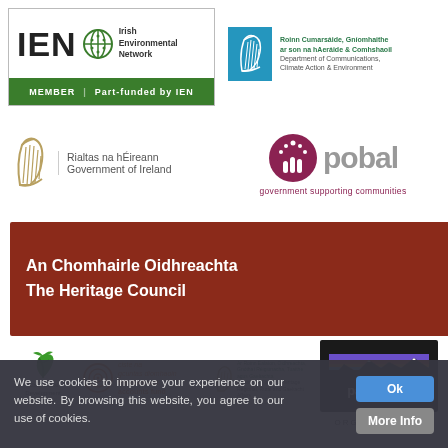[Figure (logo): IEN Irish Environmental Network logo with green MEMBER bar and 'Part-funded by IEN' text]
[Figure (logo): Department of Communications, Climate Action & Environment logo with blue harp box and bilingual text]
[Figure (logo): Rialtas na hEireann / Government of Ireland harp logo with bilingual text]
[Figure (logo): Pobal logo with red dot network icon and tagline 'government supporting communities']
[Figure (logo): An Chomhairle Oidhreachta / The Heritage Council logo on red banner with fingerprint motif]
[Figure (logo): LEADER programme logo with green stripe and emblem]
[Figure (logo): Clare Local Development Company logo with green leaf icon]
[Figure (logo): Ciste na gcuntas diomhaoin / the dormant accounts fund logo]
[Figure (logo): Department of Arts, Heritage, Regional, Rural and Gaeltacht Affairs logo]
[Figure (logo): Patagonia logo on dark background with mountain silhouette]
We use cookies to improve your experience on our website. By browsing this website, you agree to our use of cookies.